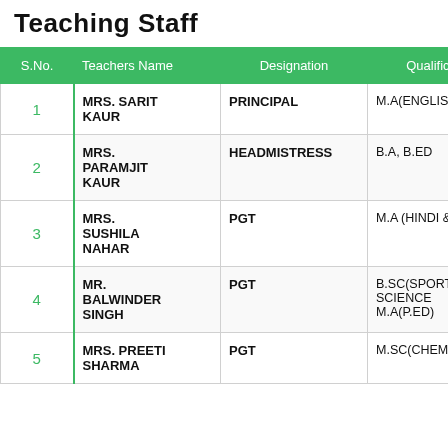Teaching Staff
| S.No. | Teachers Name | Designation | Qualification |
| --- | --- | --- | --- |
| 1 | MRS. SARIT KAUR | PRINCIPAL | M.A(ENGLISH),B.ED |
| 2 | MRS. PARAMJIT KAUR | HEADMISTRESS | B.A, B.ED |
| 3 | MRS. SUSHILA NAHAR | PGT | M.A (HINDI & HIS),B.ED |
| 4 | MR. BALWINDER SINGH | PGT | B.SC(SPORTS SCIENCE) M.A(P.ED) |
| 5 | MRS. PREETI SHARMA | PGT | M.SC(CHEMISTRY),B.ED |